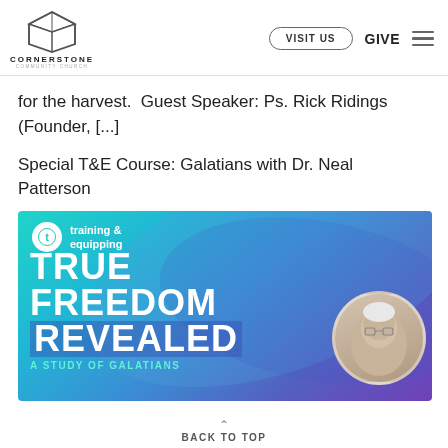[Figure (logo): Cornerstone Community Church logo — geometric cube outline above the text CORNERSTONE COMMUNITY CHURCH]
for the harvest.  Guest Speaker: Ps. Rick Ridings (Founder, [...]
Special T&E Course: Galatians with Dr. Neal Patterson
[Figure (illustration): Training & Equipping banner image with teal/blue gradient background. Circle logo with 't' icon and text 'training & equipping'. Large bold white text reads TRUE FREEDOM REVEALED with a study of galatians below. Circular portrait of an elderly male speaker on the right.]
BACK TO TOP